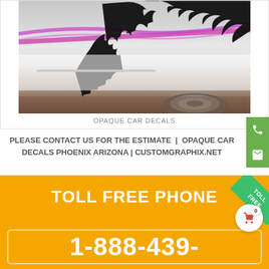[Figure (photo): White car with black tribal flame decals and pink/purple accent stripes on the side panel, photographed from the side showing rear quarter panel and wheel]
OPAQUE CAR DECALS
PLEASE CONTACT US FOR THE ESTIMATE  |  OPAQUE CAR DECALS PHOENIX ARIZONA | CUSTOMGRAPHIX.NET
[Figure (infographic): Orange banner with green diagonal ribbon badge reading TOLL FREE, large white text TOLL FREE PHONE, and white bordered box containing phone number 1-888-439-]